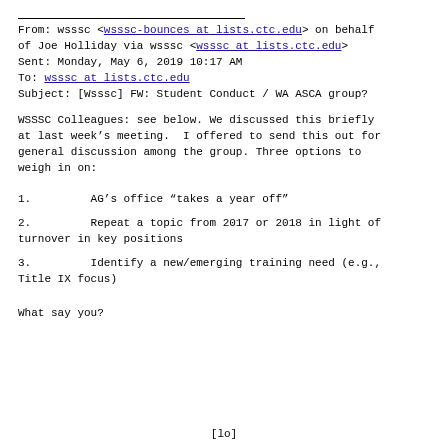From: wsssc <wsssc-bounces at lists.ctc.edu> on behalf of Joe Holliday via wsssc <wsssc at lists.ctc.edu>
Sent: Monday, May 6, 2019 10:17 AM
To: wsssc at lists.ctc.edu
Subject: [Wsssc] FW: Student Conduct / WA ASCA group?
WSSSC Colleagues: see below. We discussed this briefly at last week’s meeting.  I offered to send this out for general discussion among the group. Three options to weigh in on:
1.        AG’s office “takes a year off”
2.        Repeat a topic from 2017 or 2018 in light of turnover in key positions
3.        Identify a new/emerging training need (e.g., Title IX focus)
What say you?
[lo]